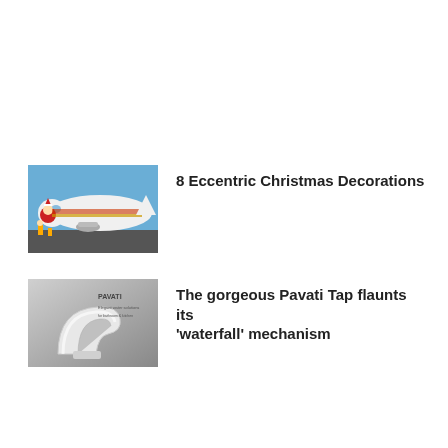[Figure (photo): A commercial airplane with colorful Christmas-themed livery including Santa Claus graphics on the nose, parked at an airport with ground crew visible.]
8 Eccentric Christmas Decorations
[Figure (photo): A sleek silver faucet/tap design against a gray background with the Pavati logo and text visible.]
The gorgeous Pavati Tap flaunts its 'waterfall' mechanism